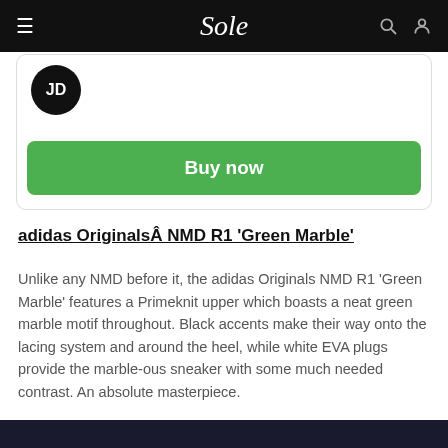Sole
[Figure (logo): JD Sports circular logo in black and white]
[Figure (other): Green Buy now button inside a product card]
adidas OriginalsÂ NMD R1 'Green Marble'
Unlike any NMD before it, the adidas Originals NMD R1 'Green Marble' features a Primeknit upper which boasts a neat green marble motif throughout. Black accents make their way onto the lacing system and around the heel, while white EVA plugs provide the marble-ous sneaker with some much needed contrast. An absolute masterpiece.
[Figure (photo): Dark bottom strip showing the bottom of an image of a person wearing sneakers]